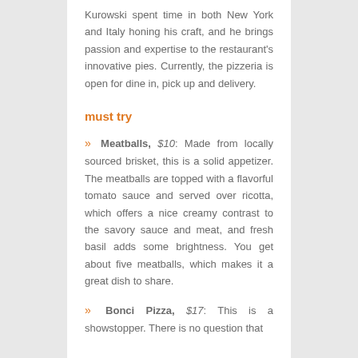Kurowski spent time in both New York and Italy honing his craft, and he brings passion and expertise to the restaurant's innovative pies. Currently, the pizzeria is open for dine in, pick up and delivery.
must try
» Meatballs, $10: Made from locally sourced brisket, this is a solid appetizer. The meatballs are topped with a flavorful tomato sauce and served over ricotta, which offers a nice creamy contrast to the savory sauce and meat, and fresh basil adds some brightness. You get about five meatballs, which makes it a great dish to share.
» Bonci Pizza, $17: This is a showstopper. There is no question that